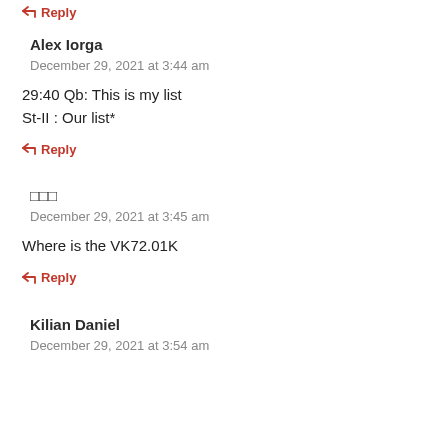↵ Reply
Alex Iorga
December 29, 2021 at 3:44 am
29:40 Qb: This is my list
St-II : Our list*
↵ Reply
□□□
December 29, 2021 at 3:45 am
Where is the VK72.01K
↵ Reply
Kilian Daniel
December 29, 2021 at 3:54 am